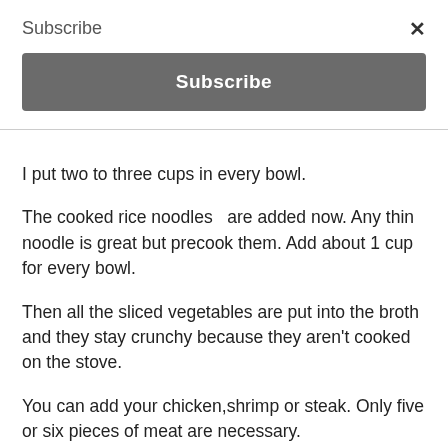Subscribe
I put two to three cups in every bowl.
The cooked rice noodles  are added now. Any thin noodle is great but precook them. Add about 1 cup for every bowl.
Then all the sliced vegetables are put into the broth and they stay crunchy because they aren't cooked on the stove.
You can add your chicken,shrimp or steak. Only five or six pieces of meat are necessary.
Serve this with a plate of  fresh bean sprouts,  fresh thai